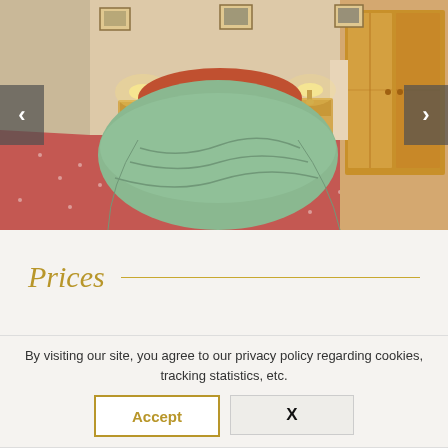[Figure (photo): Hotel bedroom with a large bed covered in a green bedspread, red patterned carpet, wooden nightstands with lamps, framed pictures on the wall, and a wooden wardrobe. Navigation arrows on left and right sides.]
Prices
By visiting our site, you agree to our privacy policy regarding cookies, tracking statistics, etc.
Accept
X